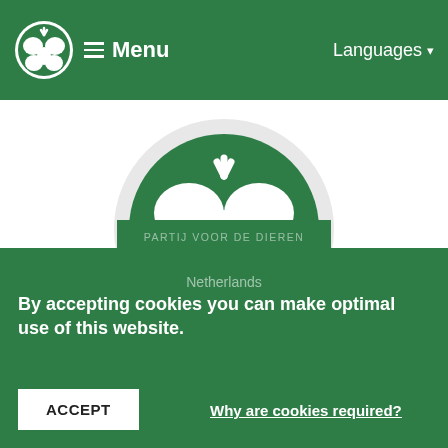≡ Menu   Languages ▾
Related organization
[Figure (logo): Partij voor de Dieren logo: white butterfly/apple shape on dark green circle, within a light grey outer circle]
PARTIJ VOOR DE DIEREN
Netherlands
By accepting cookies you can make optimal use of this website.
ACCEPT
Why are cookies required?